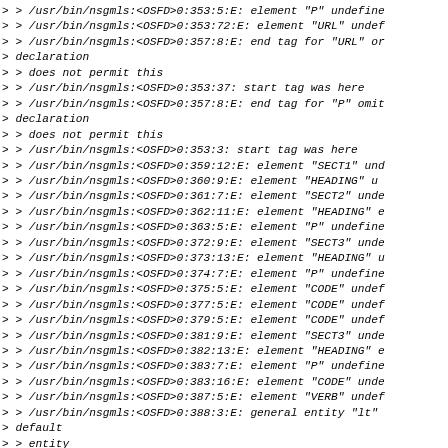> > /usr/bin/nsgmls:<OSFD>0:353:5:E: element "P" undefined
> > /usr/bin/nsgmls:<OSFD>0:353:72:E: element "URL" undefined
> > /usr/bin/nsgmls:<OSFD>0:357:8:E: end tag for "URL" or
> declaration
> > does not permit this
> > /usr/bin/nsgmls:<OSFD>0:353:37: start tag was here
> > /usr/bin/nsgmls:<OSFD>0:357:8:E: end tag for "P" omit
> declaration
> > does not permit this
> > /usr/bin/nsgmls:<OSFD>0:353:3: start tag was here
> > /usr/bin/nsgmls:<OSFD>0:359:12:E: element "SECT1" und
> > /usr/bin/nsgmls:<OSFD>0:360:9:E: element "HEADING" u
> > /usr/bin/nsgmls:<OSFD>0:361:7:E: element "SECT2" unde
> > /usr/bin/nsgmls:<OSFD>0:362:11:E: element "HEADING" e
> > /usr/bin/nsgmls:<OSFD>0:363:5:E: element "P" undefine
> > /usr/bin/nsgmls:<OSFD>0:372:9:E: element "SECT3" unde
> > /usr/bin/nsgmls:<OSFD>0:373:13:E: element "HEADING" u
> > /usr/bin/nsgmls:<OSFD>0:374:7:E: element "P" undefine
> > /usr/bin/nsgmls:<OSFD>0:375:5:E: element "CODE" undef
> > /usr/bin/nsgmls:<OSFD>0:377:5:E: element "CODE" undef
> > /usr/bin/nsgmls:<OSFD>0:379:5:E: element "CODE" undef
> > /usr/bin/nsgmls:<OSFD>0:381:9:E: element "SECT3" unde
> > /usr/bin/nsgmls:<OSFD>0:382:13:E: element "HEADING" e
> > /usr/bin/nsgmls:<OSFD>0:383:7:E: element "P" undefine
> > /usr/bin/nsgmls:<OSFD>0:383:16:E: element "CODE" unde
> > /usr/bin/nsgmls:<OSFD>0:387:5:E: element "VERB" undef
> > /usr/bin/nsgmls:<OSFD>0:388:3:E: general entity "lt"
> default
> > entity
> > /usr/bin/nsgmls:<OSFD>0:388:119:E: general entity "g